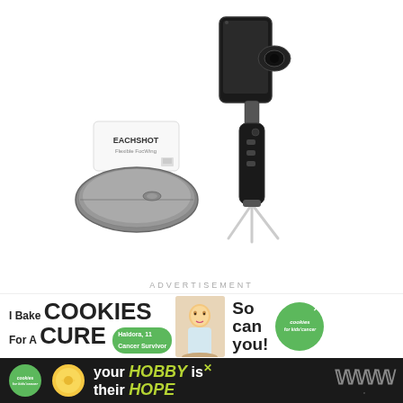[Figure (photo): Product photo showing a smartphone gimbal stabilizer with tripod (black/silver), a small white EACHSHOT box accessory, and a gray carrying case on white background]
ADVERTISEMENT
[Figure (photo): Advertisement banner: 'I Bake COOKIES For A CURE' - Cookies for Kids' Cancer charity ad with image of child named Haldora, 11 Cancer Survivor, and text 'So can you!']
[Figure (photo): Advertisement banner (dark background): Cookies for Kids' Cancer logo with text 'your HOBBY is their HOPE']